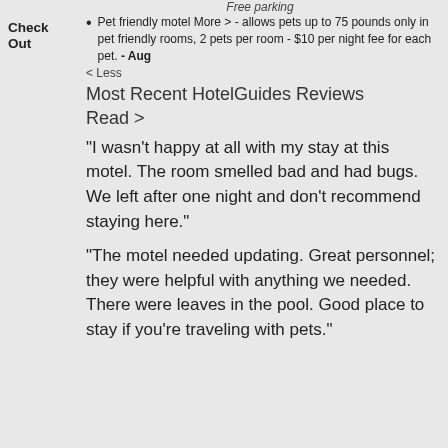Free parking
Check Out
Pet friendly motel More > - allows pets up to 75 pounds only in pet friendly rooms, 2 pets per room - $10 per night fee for each pet. - Aug
< Less
Most Recent HotelGuides Reviews
Read >
"I wasn't happy at all with my stay at this motel. The room smelled bad and had bugs. We left after one night and don't recommend staying here."
"The motel needed updating. Great personnel; they were helpful with anything we needed. There were leaves in the pool. Good place to stay if you're traveling with pets."